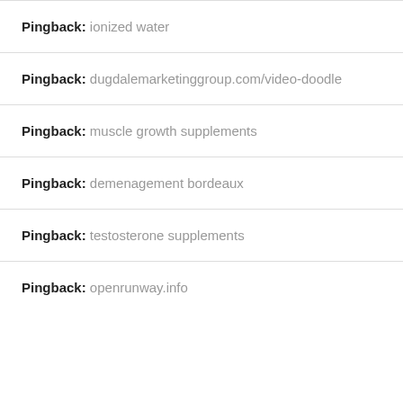Pingback: ionized water
Pingback: dugdalemarketinggroup.com/video-doodle
Pingback: muscle growth supplements
Pingback: demenagement bordeaux
Pingback: testosterone supplements
Pingback: openrunway.info